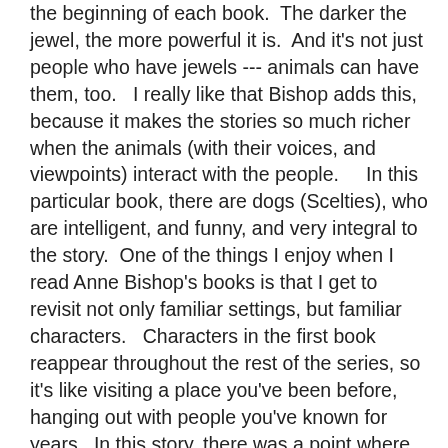the beginning of each book.  The darker the jewel, the more powerful it is.  And it's not just people who have jewels --- animals can have them, too.  I really like that Bishop adds this, because it makes the stories so much richer when the animals (with their voices, and viewpoints) interact with the people.    In this particular book, there are dogs (Scelties), who are intelligent, and funny, and very integral to the story.  One of the things I enjoy when I read Anne Bishop's books is that I get to revisit not only familiar settings, but familiar characters.   Characters in the first book reappear throughout the rest of the series, so it's like visiting a place you've been before, hanging out with people you've known for years.  In this story, there was a point where two characters appear to threaten some people (very bad people --- you're happy that they are being threatened), and it's characters I knew from the other stories.  I actually let out a laugh when I was reading this part ---- I felt like Anne Bishop just knew that would be the happy recognition a reader of her series would have.   Actually, it was like an inside joke.  And I really liked that.   I wouldn't say that this series is serious reading, but definitely entertaining, fantastical, and fun.   If you've never read any Anne Bishop, you'll want to